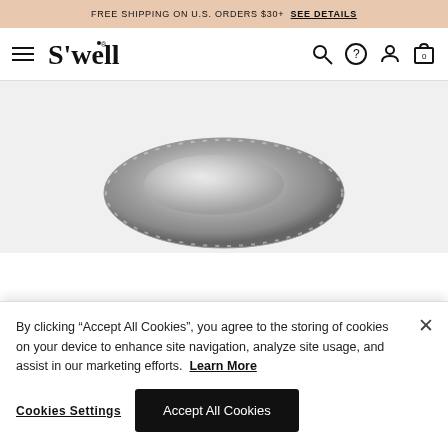FREE SHIPPING ON U.S. ORDERS $30+  SEE DETAILS
[Figure (logo): S'well brand logo with hamburger menu, search, help, account, and cart icons in navigation bar]
[Figure (photo): Partial view of a S'well stainless steel bowl/lid, metallic silver finish, shown from above on light gray background]
By clicking “Accept All Cookies”, you agree to the storing of cookies on your device to enhance site navigation, analyze site usage, and assist in our marketing efforts.  Learn More
Cookies Settings
Accept All Cookies